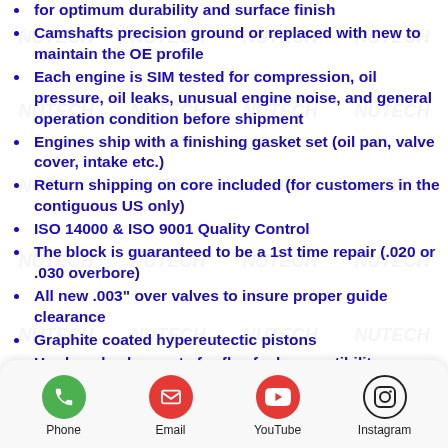for optimum durability and surface finish
Camshafts precision ground or replaced with new to maintain the OE profile
Each engine is SIM tested for compression, oil pressure, oil leaks, unusual engine noise, and general operation condition before shipment
Engines ship with a finishing gasket set (oil pan, valve cover, intake etc.)
Return shipping on core included (for customers in the contiguous US only)
ISO 14000 & ISO 9001 Quality Control
The block is guaranteed to be a 1st time repair (.020 or .030 overbore)
All new .003" over valves to insure proper guide clearance
Graphite coated hypereutectic pistons
Hardened valve seats for flex fuel compatibility
No weld repairs
Cylindricity of less than 10 microns